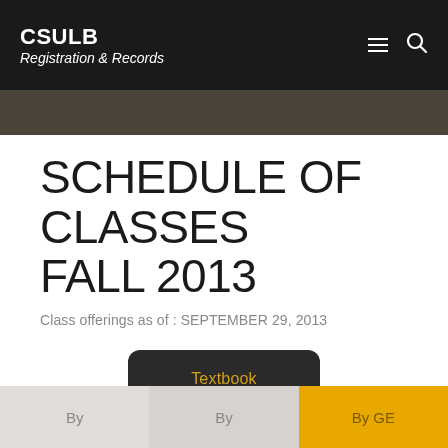CSULB Registration & Records
SCHEDULE OF CLASSES FALL 2013
Class offerings as of : SEPTEMBER 29, 2013
Textbook Information
By
By
By GE